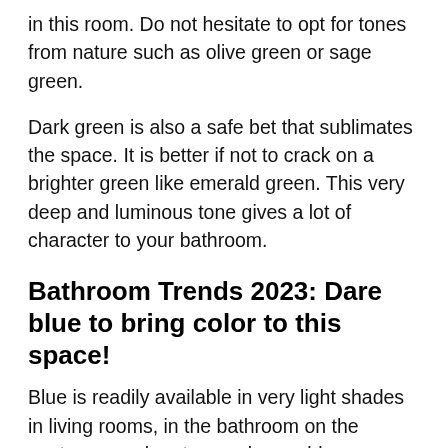in this room. Do not hesitate to opt for tones from nature such as olive green or sage green.
Dark green is also a safe bet that sublimates the space. It is better if not to crack on a brighter green like emerald green. This very deep and luminous tone gives a lot of character to your bathroom.
Bathroom Trends 2023: Dare blue to bring color to this space!
Blue is readily available in very light shades in living rooms, in the bathroom on the contrary, we dare to use deeper blues. Midnight blue, navy blue or even cobalt blue are perfect tones in this room.